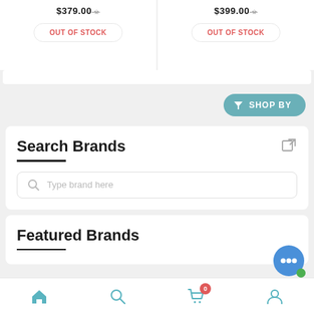$379.00 (strikethrough) OUT OF STOCK
$399.00 (strikethrough) OUT OF STOCK
SHOP BY
Search Brands
Type brand here
Featured Brands
Home | Search | Cart (0) | Account